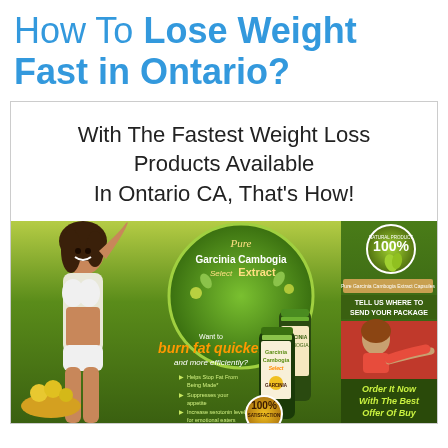How To Lose Weight Fast in Ontario?
With The Fastest Weight Loss Products Available In Ontario CA, That's How!
[Figure (advertisement): Advertisement for Pure Garcinia Cambogia Select Extract product showing a woman in white bikini, product bottles, bullet points about benefits (Helps Stop Fat From Being Made, Suppresses your appetite, Increase serotonin levels for emotional eaters), 100% Satisfaction badge, Natural Product 100% badge, and an order section saying 'Order It Now With The Best Offer Of Buy']